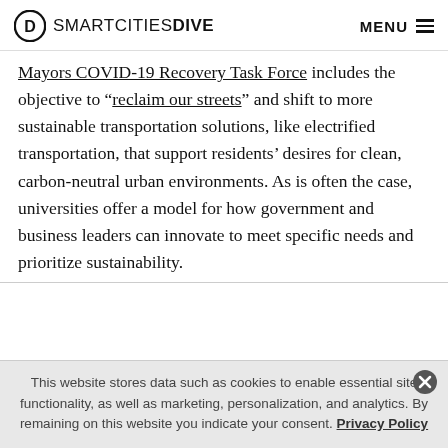SMARTCITIES DIVE  MENU
Mayors COVID-19 Recovery Task Force includes the objective to “reclaim our streets” and shift to more sustainable transportation solutions, like electrified transportation, that support residents’ desires for clean, carbon-neutral urban environments. As is often the case, universities offer a model for how government and business leaders can innovate to meet specific needs and prioritize sustainability.
This website stores data such as cookies to enable essential site functionality, as well as marketing, personalization, and analytics. By remaining on this website you indicate your consent. Privacy Policy